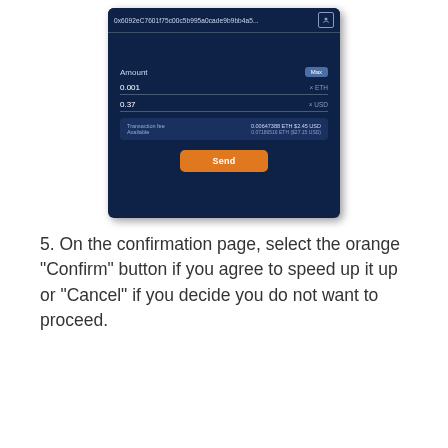[Figure (screenshot): Mobile app screenshot showing a cryptocurrency send form with address bar showing '0x6092eC7601f75c00c5b995a0cade9b9bb4a5...', Amount field with value 0.001 ETH and 0.37 USD, a Max button, Transaction fee showing 0.00647388 ETH $2.45 USD, Available showing 0.07186516 ETH ($27.15 USD), and an orange Send button.]
5. On the confirmation page, select the orange "Confirm" button if you agree to speed up it up or "Cancel" if you decide you do not want to proceed.